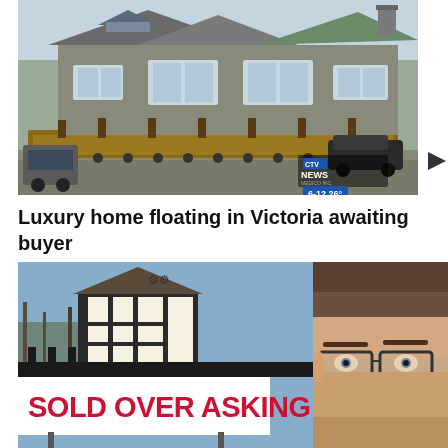[Figure (screenshot): A large luxury house being transported on a flatbed truck/trailer system on a road. CTV News logo and timestamp 6-12 26 visible in bottom right of the image.]
Luxury home floating in Victoria awaiting buyer
[Figure (photo): Split image: left side shows a real estate sign reading 'SOLD OVER ASKING' in bold red text on white background, with a Tudor-style house and bare trees in background. Right side shows a close-up of a man's face with glasses looking upward with a surprised expression.]